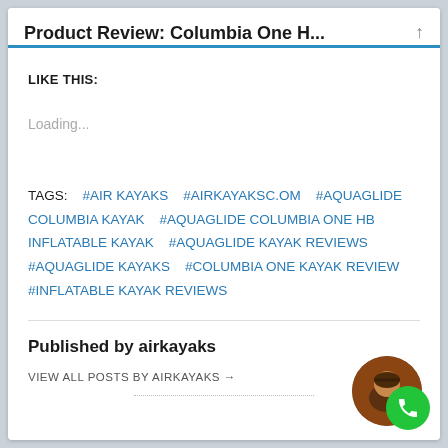Product Review: Columbia One H...
LIKE THIS:
Loading...
TAGS:   #AIR KAYAKS   #AIRKAYAKSC.OM   #AQUAGLIDE COLUMBIA KAYAK   #AQUAGLIDE COLUMBIA ONE HB INFLATABLE KAYAK   #AQUAGLIDE KAYAK REVIEWS   #AQUAGLIDE KAYAKS   #COLUMBIA ONE KAYAK REVIEW   #INFLATABLE KAYAK REVIEWS
Published by airkayaks
VIEW ALL POSTS BY AIRKAYAKS →